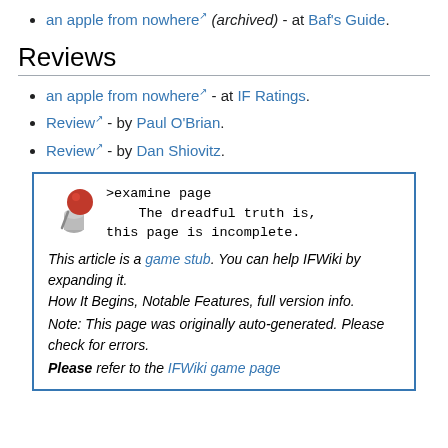an apple from nowhere (archived) - at Baf's Guide.
Reviews
an apple from nowhere - at IF Ratings.
Review - by Paul O'Brian.
Review - by Dan Shiovitz.
[Figure (other): Thumbtack/pin icon used for stub notice box]
>examine page
    The dreadful truth is, this page is incomplete.

This article is a game stub. You can help IFWiki by expanding it.
How It Begins, Notable Features, full version info.
Note: This page was originally auto-generated. Please check for errors.
Please refer to the IFWiki game page